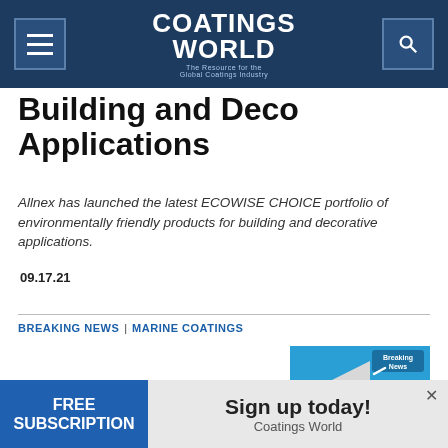Coatings World — The Resource for the Global Coatings Industry
Building and Deco Applications
Allnex has launched the latest ECOWISE CHOICE portfolio of environmentally friendly products for building and decorative applications.
09.17.21
BREAKING NEWS | MARINE COATINGS
[Figure (illustration): Breaking News graphic with megaphone on blue background with 'Breaking News' text]
[Figure (infographic): Advertisement banner: FREE SUBSCRIPTION — Sign up today! Coatings World]